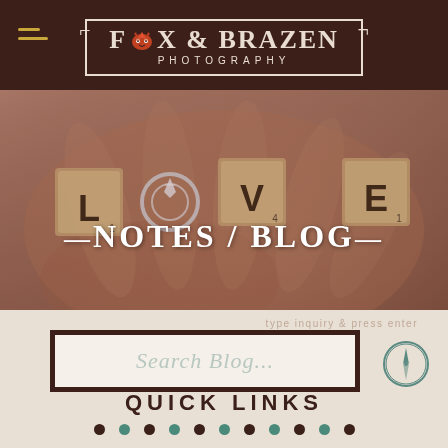Fox & Brazen Photography
[Figure (photo): Close-up of open hands holding scrabble tiles spelling LOVE with a diamond ring in the center, warm earthy tones]
—NOTES / BLOG—
type inquiry & press enter
Search Blog...
QUICK LINKS
• • • • • • • • • • •